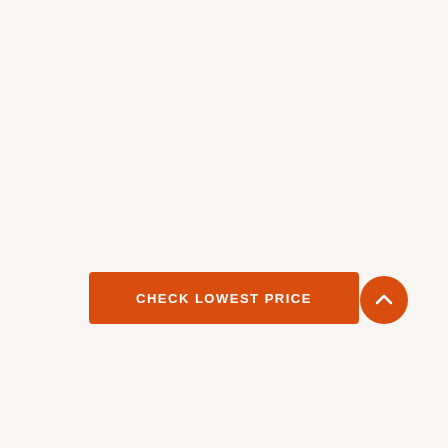[Figure (other): Orange rounded rectangle button with white uppercase text 'CHECK LOWEST PRICE']
[Figure (other): Orange circular scroll-to-top button with a white upward-pointing chevron arrow]